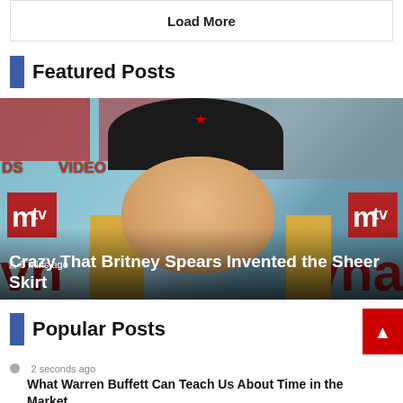Load More
Featured Posts
[Figure (photo): Britney Spears at MTV Video Music Awards, wearing a black hat, with MTV VMA backdrop visible. Overlaid with timestamp '6 mins ago' and headline title.]
6 mins ago
Crazy That Britney Spears Invented the Sheer Skirt
Popular Posts
2 seconds ago
What Warren Buffett Can Teach Us About Time in the Market